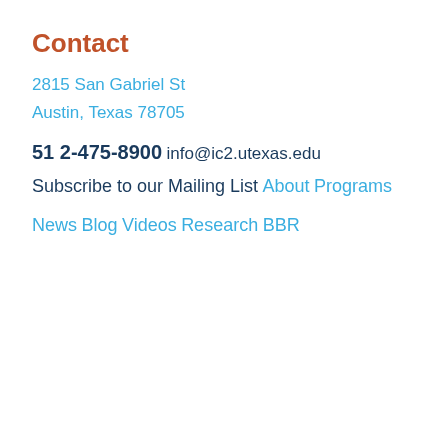Contact
2815 San Gabriel St
Austin, Texas 78705
512-475-8900
info@ic2.utexas.edu
Subscribe to our Mailing List
About
Programs
News
Blog
Videos
Research
BBR